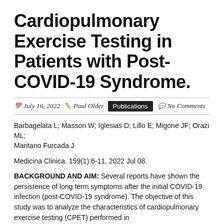Cardiopulmonary Exercise Testing in Patients with Post-COVID-19 Syndrome.
July 16, 2022  Paul Older  Publications  No Comments
Barbagelata L; Masson W; Iglesias D; Lillo E; Migone JF; Orazi ML;
Maritano Furcada J
Medicina Clinica. 159(1):6-11, 2022 Jul 08.
BACKGROUND AND AIM: Several reports have shown the persistence of long term symptoms after the initial COVID-19 infection (post-COVID-19 syndrome). The objective of this study was to analyze the characteristics of cardiopulmonary exercise testing (CPET) performed in